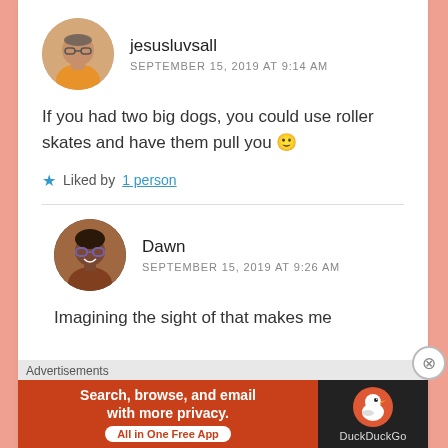jesusluvsall
SEPTEMBER 15, 2019 AT 9:14 AM
If you had two big dogs, you could use roller skates and have them pull you 🙂
★ Liked by 1 person
Dawn
SEPTEMBER 15, 2019 AT 9:26 AM
Imagining the sight of that makes me
Advertisements
Search, browse, and email with more privacy. All in One Free App